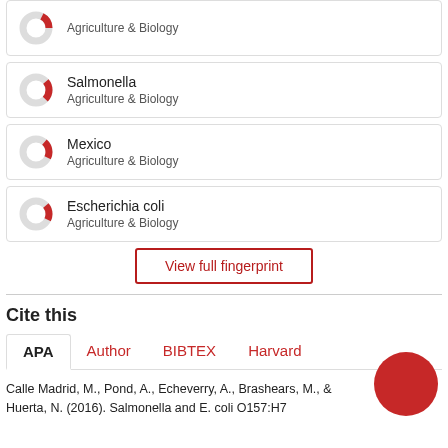[Figure (donut-chart): Donut chart icon for Agriculture & Biology (partial red arc, top)]
Agriculture & Biology
[Figure (donut-chart): Donut chart icon for Salmonella - Agriculture & Biology (red arc)]
Salmonella
Agriculture & Biology
[Figure (donut-chart): Donut chart icon for Mexico - Agriculture & Biology (red arc)]
Mexico
Agriculture & Biology
[Figure (donut-chart): Donut chart icon for Escherichia coli - Agriculture & Biology (red arc)]
Escherichia coli
Agriculture & Biology
View full fingerprint
Cite this
APA  Author  BIBTEX  Harvard
Calle Madrid, M., Pond, A., Echeverry, A., Brashears, M., & Huerta, N. (2016). Salmonella and E. coli O157:H7